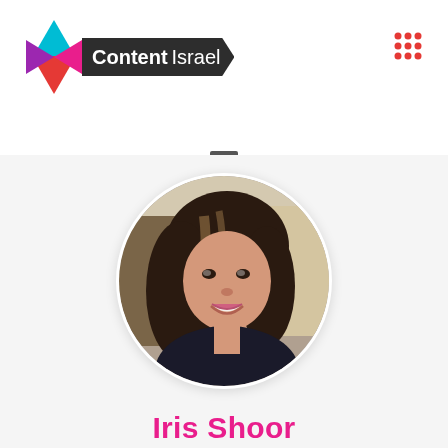[Figure (logo): Content Israel logo with Star of David shape in purple, teal, pink and red colors, with 'Content Israel' text on dark arrow banner]
[Figure (other): 3x3 grid of red dots icon (menu/apps icon)]
[Figure (photo): Circular portrait photo of Iris Shoor, a woman with long dark brown hair with highlights, smiling, wearing a dark top, with a light blurred background]
Iris Shoor
Director of Product, LinkedIn